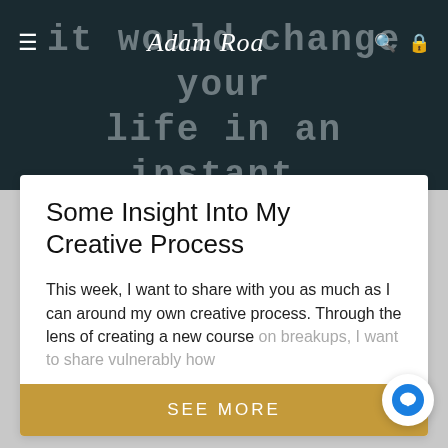[Figure (screenshot): Website header/hero image with dark teal background showing large faded text 'it would change your life in an instant.' with navigation bar containing hamburger menu, Adam Roa logo signature, search and cart icons.]
Some Insight Into My Creative Process
This week, I want to share with you as much as I can around my own creative process. Through the lens of creating a new course on breakups, I want to share vulnerably how
Art
Creativity
Expression
par Adam Roa | 16 December, 2019 | 2 min lu
SEE MORE